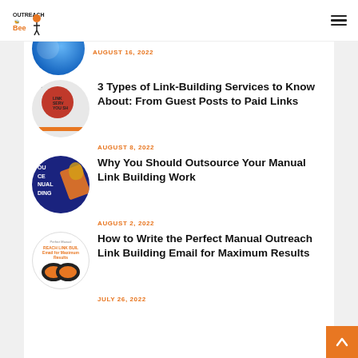Outreach Bee — navigation header with logo and hamburger menu
AUGUST 16, 2022
3 Types of Link-Building Services to Know About: From Guest Posts to Paid Links
AUGUST 8, 2022
Why You Should Outsource Your Manual Link Building Work
AUGUST 2, 2022
How to Write the Perfect Manual Outreach Link Building Email for Maximum Results
JULY 26, 2022